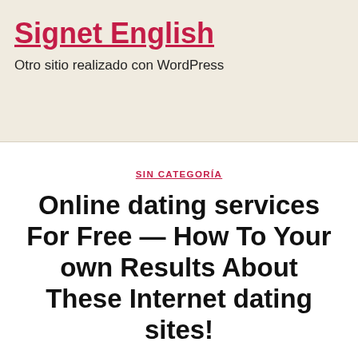Signet English
Otro sitio realizado con WordPress
SIN CATEGORÍA
Online dating services For Free — How To Your own Results About These Internet dating sites!